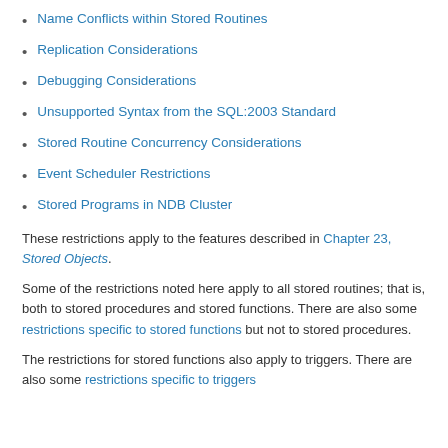Name Conflicts within Stored Routines
Replication Considerations
Debugging Considerations
Unsupported Syntax from the SQL:2003 Standard
Stored Routine Concurrency Considerations
Event Scheduler Restrictions
Stored Programs in NDB Cluster
These restrictions apply to the features described in Chapter 23, Stored Objects.
Some of the restrictions noted here apply to all stored routines; that is, both to stored procedures and stored functions. There are also some restrictions specific to stored functions but not to stored procedures.
The restrictions for stored functions also apply to triggers. There are also some restrictions specific to triggers